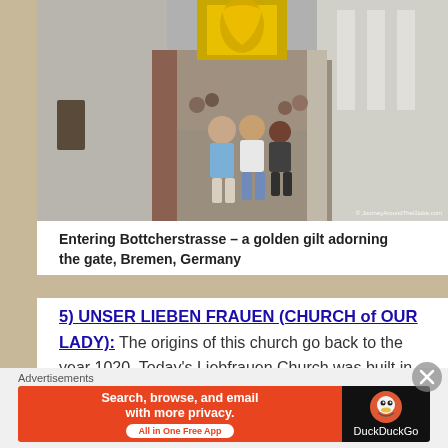[Figure (photo): Street scene entering Bottcherstrasse, a narrow alley with people walking through, a golden gilt relief adorning the gate above, buildings on both sides, Bremen, Germany. Watermark: © JourneyAroundTheGlobe.com]
Entering Bottcherstrasse – a golden gilt adorning the gate, Bremen, Germany
5) UNSER LIEBEN FRAUEN (CHURCH of OUR LADY): The origins of this church go back to the year 1020. Today's Liebfrauen Church was built in 1229, from the Romanesque to the Gothic period. They rendered and rebuilt it from 1700…
Advertisements
[Figure (screenshot): DuckDuckGo advertisement banner: orange section with text 'Search, browse, and email with more privacy. All in One Free App' and black section with DuckDuckGo logo]